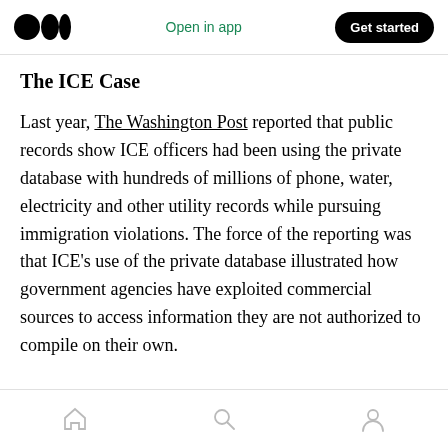Open in app | Get started
The ICE Case
Last year, The Washington Post reported that public records show ICE officers had been using the private database with hundreds of millions of phone, water, electricity and other utility records while pursuing immigration violations. The force of the reporting was that ICE's use of the private database illustrated how government agencies have exploited commercial sources to access information they are not authorized to compile on their own.
Home | Search | Profile